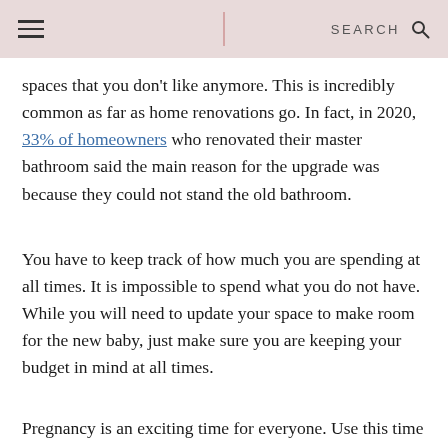≡  |  SEARCH  🔍
spaces that you don't like anymore. This is incredibly common as far as home renovations go. In fact, in 2020, 33% of homeowners who renovated their master bathroom said the main reason for the upgrade was because they could not stand the old bathroom.
You have to keep track of how much you are spending at all times. It is impossible to spend what you do not have. While you will need to update your space to make room for the new baby, just make sure you are keeping your budget in mind at all times.
Pregnancy is an exciting time for everyone. Use this time to focus on intuitive parenting instead of